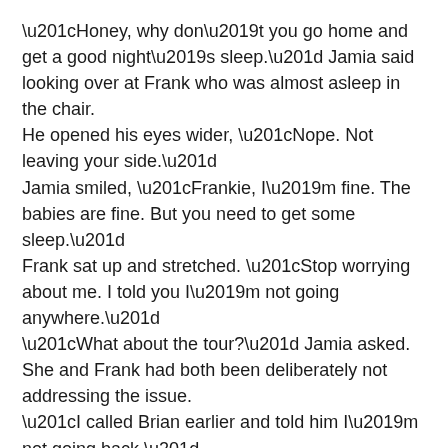“Honey, why don’t you go home and get a good night’s sleep.” Jamia said looking over at Frank who was almost asleep in the chair.
He opened his eyes wider, “Nope. Not leaving your side.”
Jamia smiled, “Frankie, I’m fine. The babies are fine. But you need to get some sleep.”
Frank sat up and stretched. “Stop worrying about me. I told you I’m not going anywhere.”
“What about the tour?” Jamia asked. She and Frank had both been deliberately not addressing the issue.
“I called Brian earlier and told him I’m not going back.”
“You did?” Jamia was surprised, “Why didn’t you tell me?”
Frank stood up and moved closer to the bed, “I did. I told you I’m not going anywhere. That’s I’m gonna see my babies born.”
“Are you sure? You could finish the European tour.”
Frank shook his head, “Can’t get rid of me.” He leaned